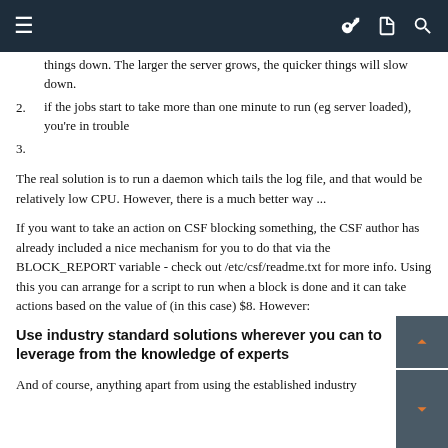Navigation bar with hamburger menu and icons
things down. The larger the server grows, the quicker things will slow down.
if the jobs start to take more than one minute to run (eg server loaded), you're in trouble
3.
The real solution is to run a daemon which tails the log file, and that would be relatively low CPU. However, there is a much better way ...
If you want to take an action on CSF blocking something, the CSF author has already included a nice mechanism for you to do that via the BLOCK_REPORT variable - check out /etc/csf/readme.txt for more info. Using this you can arrange for a script to run when a block is done and it can take actions based on the value of (in this case) $8. However:
Use industry standard solutions wherever you can to leverage from the knowledge of experts
And of course, anything apart from using the established industry standard base for Sendmail or 011 c. For mere advanced obtaining all